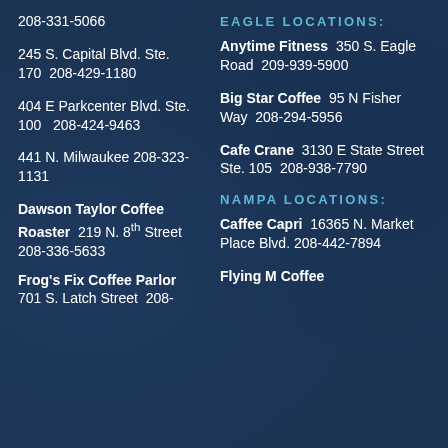208-331-5066
245 S. Capital Blvd. Ste. 170  208-429-1180
404 E Parkcenter Blvd. Ste. 100  208-424-9463
441 N. Milwaukee  208-323-1131
Dawson Taylor Coffee Roaster  219 N. 8th Street  208-336-5633
Frog's Fix Coffee Parlor  701 S. Latch Street  208-
EAGLE LOCATIONS:
Anytime Fitness  350 S. Eagle Road  209-939-5900
Big Star Coffee  95 N Fisher Way  208-294-5956
Cafe Crane  3130 E State Street Ste. 105  208-938-7790
NAMPA LOCATIONS:
Caffee Capri  16365 N. Market Place Blvd.  208-442-7894
Flying M Coffee